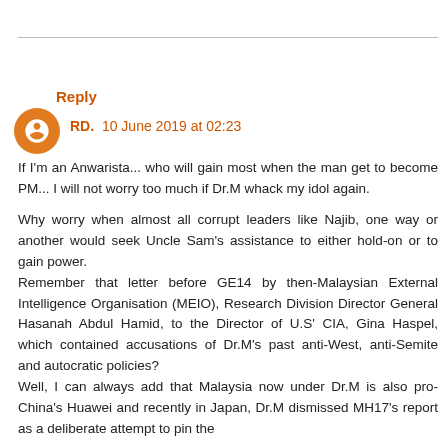Reply
RD.  10 June 2019 at 02:23
If I'm an Anwarista... who will gain most when the man get to become PM... I will not worry too much if Dr.M whack my idol again.

Why worry when almost all corrupt leaders like Najib, one way or another would seek Uncle Sam's assistance to either hold-on or to gain power.
Remember that letter before GE14 by then-Malaysian External Intelligence Organisation (MEIO), Research Division Director General Hasanah Abdul Hamid, to the Director of U.S' CIA, Gina Haspel, which contained accusations of Dr.M's past anti-West, anti-Semite and autocratic policies?
Well, I can always add that Malaysia now under Dr.M is also pro-China's Huawei and recently in Japan, Dr.M dismissed MH17's report as a deliberate attempt to pin the